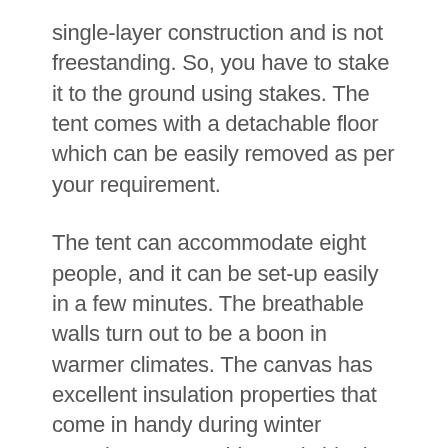single-layer construction and is not freestanding. So, you have to stake it to the ground using stakes. The tent comes with a detachable floor which can be easily removed as per your requirement.
The tent can accommodate eight people, and it can be set-up easily in a few minutes. The breathable walls turn out to be a boon in warmer climates. The canvas has excellent insulation properties that come in handy during winter camping. Hence, this tent is ideal for use in all seasons. The army-duck canvas is treated with water-repellent and mildew components. If you wish to have a homely experience away from home, you should opt for this tent.